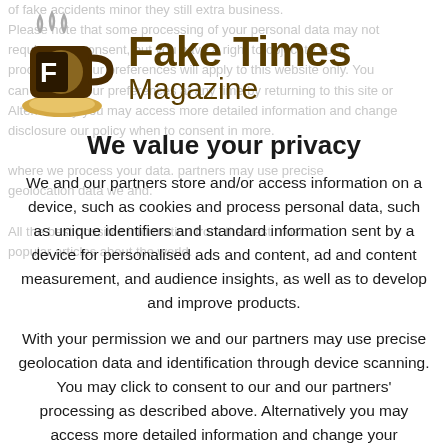[Figure (logo): Fake Times Magazine logo: coffee cup with steam and letter F, alongside bold text 'Fake Times' and 'Magazine' in dark brown]
We value your privacy
We and our partners store and/or access information on a device, such as cookies and process personal data, such as unique identifiers and standard information sent by a device for personalised ads and content, ad and content measurement, and audience insights, as well as to develop and improve products.
With your permission we and our partners may use precise geolocation data and identification through device scanning. You may click to consent to our and our partners' processing as described above. Alternatively you may access more detailed information and change your preferences before consenting or to refuse consenting. Please note that some processing of your